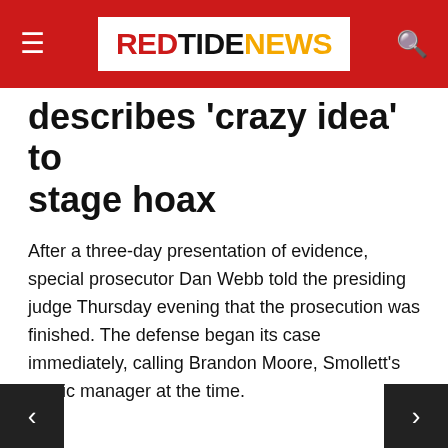RED TIDE NEWS
describes 'crazy idea' to stage hoax
After a three-day presentation of evidence, special prosecutor Dan Webb told the presiding judge Thursday evening that the prosecution was finished. The defense began its case immediately, calling Brandon Moore, Smollett's music manager at the time.
Olabinjo Osundairo took the stand earlier in the day to echo his brother Abimbola's testimony the day before that Smollett requested they play assailants in the allegedly staged attack.